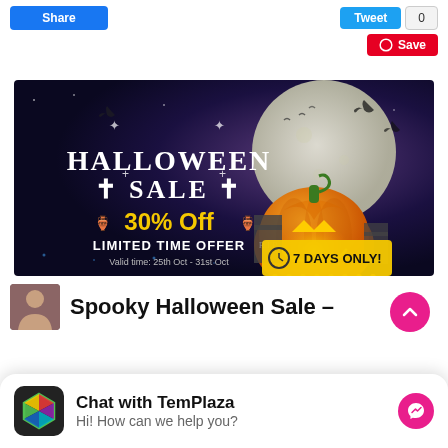[Figure (screenshot): Share and Tweet social media buttons at top, with zero count and Pinterest Save button]
[Figure (illustration): Halloween Sale promotional banner: dark purple/blue background with full moon, bats, jack-o-lantern pumpkin. Text: HALLOWEEN SALE, 30% Off, LIMITED TIME OFFER, Valid time: 25th Oct - 31st Oct, 7 DAYS ONLY!]
[Figure (screenshot): Article preview thumbnail with bold heading: Spooky Halloween Sale –]
[Figure (screenshot): Chat widget with TemPlaza logo: Chat with TemPlaza, Hi! How can we help you?]
Time